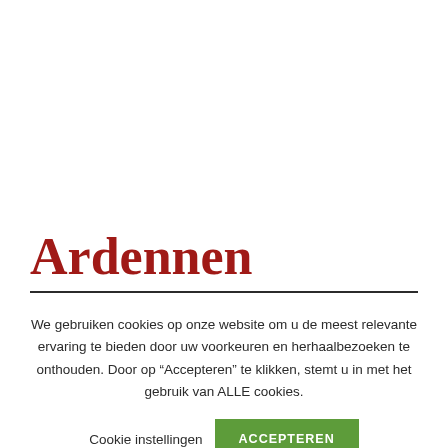Ardennen
We gebruiken cookies op onze website om u de meest relevante ervaring te bieden door uw voorkeuren en herhaalbezoeken te onthouden. Door op “Accepteren” te klikken, stemt u in met het gebruik van ALLE cookies.
Cookie instellingen  ACCEPTEREN